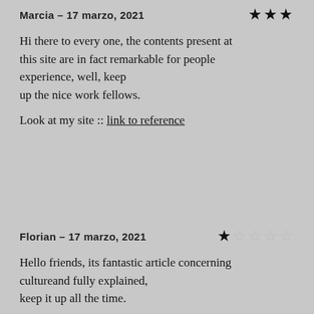Marcia – 17 marzo, 2021 ★★★
Hi there to every one, the contents present at this site are in fact remarkable for people experience, well, keep up the nice work fellows.
Look at my site :: link to reference
Florian – 17 marzo, 2021 ★☆☆☆☆
Hello friends, its fantastic article concerning cultureand fully explained, keep it up all the time.
Feel free to visit my web site :: asian dating
Julian – 17 marzo, 2021 ☆☆☆★☆